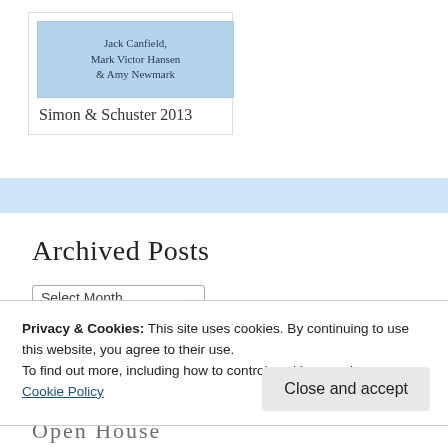[Figure (illustration): Book cover showing light blue striped background with text: Jack Canfield, Mark Victor Hansen & Amy Newmark]
Simon & Schuster 2013
Archived Posts
Select Month
Privacy & Cookies: This site uses cookies. By continuing to use this website, you agree to their use.
To find out more, including how to control cookies, see here:
Cookie Policy
Close and accept